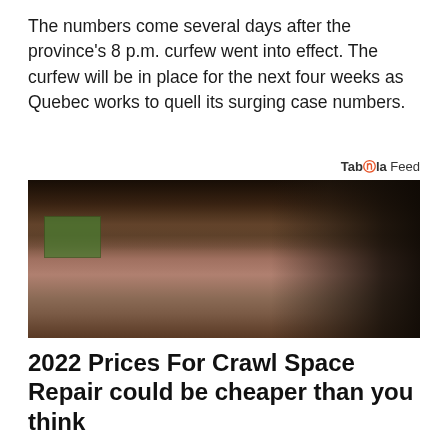The numbers come several days after the province's 8 p.m. curfew went into effect. The curfew will be in place for the next four weeks as Quebec works to quell its surging case numbers.
Taboola Feed
[Figure (photo): A dark crawl space photo showing a concrete foundation wall with cracks, wires hanging from above, a green mesh vent patch on the left, and a dark tunnel-like passage on the right.]
2022 Prices For Crawl Space Repair could be cheaper than you think